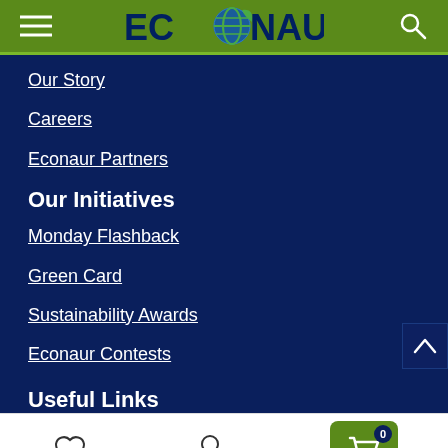ECONAUR
Our Story
Careers
Econaur Partners
Our Initiatives
Monday Flashback
Green Card
Sustainability Awards
Econaur Contests
Useful Links